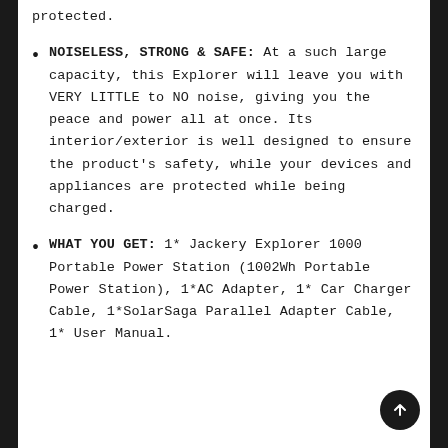protected.
NOISELESS, STRONG & SAFE: At a such large capacity, this Explorer will leave you with VERY LITTLE to NO noise, giving you the peace and power all at once. Its interior/exterior is well designed to ensure the product's safety, while your devices and appliances are protected while being charged.
WHAT YOU GET: 1* Jackery Explorer 1000 Portable Power Station (1002Wh Portable Power Station), 1*AC Adapter, 1* Car Charger Cable, 1*SolarSaga Parallel Adapter Cable, 1* User Manual.